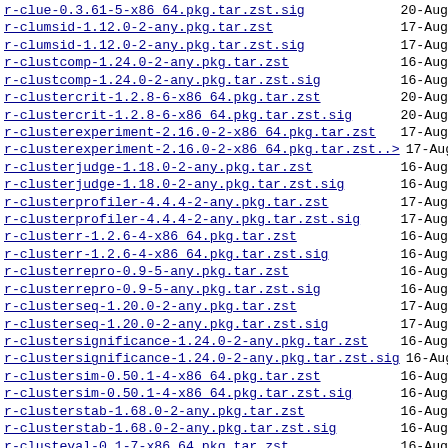r-clue-0.3.61-5-x86_64.pkg.tar.zst.sig   20-Aug
r-clumsid-1.12.0-2-any.pkg.tar.zst   17-Aug
r-clumsid-1.12.0-2-any.pkg.tar.zst.sig   17-Aug
r-clustcomp-1.24.0-2-any.pkg.tar.zst   16-Aug
r-clustcomp-1.24.0-2-any.pkg.tar.zst.sig   16-Aug
r-clustercrit-1.2.8-6-x86_64.pkg.tar.zst   20-Aug
r-clustercrit-1.2.8-6-x86_64.pkg.tar.zst.sig   20-Aug
r-clusterexperiment-2.16.0-2-x86_64.pkg.tar.zst   17-Aug
r-clusterexperiment-2.16.0-2-x86_64.pkg.tar.zst..>   17-Aug
r-clusterjudge-1.18.0-2-any.pkg.tar.zst   16-Aug
r-clusterjudge-1.18.0-2-any.pkg.tar.zst.sig   16-Aug
r-clusterprofiler-4.4.4-2-any.pkg.tar.zst   17-Aug
r-clusterprofiler-4.4.4-2-any.pkg.tar.zst.sig   17-Aug
r-clusterr-1.2.6-4-x86_64.pkg.tar.zst   16-Aug
r-clusterr-1.2.6-4-x86_64.pkg.tar.zst.sig   16-Aug
r-clusterrepro-0.9-5-any.pkg.tar.zst   16-Aug
r-clusterrepro-0.9-5-any.pkg.tar.zst.sig   16-Aug
r-clusterseq-1.20.0-2-any.pkg.tar.zst   17-Aug
r-clusterseq-1.20.0-2-any.pkg.tar.zst.sig   17-Aug
r-clustersignificance-1.24.0-2-any.pkg.tar.zst   16-Aug
r-clustersignificance-1.24.0-2-any.pkg.tar.zst.sig   16-Aug
r-clustersim-0.50.1-4-x86_64.pkg.tar.zst   16-Aug
r-clustersim-0.50.1-4-x86_64.pkg.tar.zst.sig   16-Aug
r-clusterstab-1.68.0-2-any.pkg.tar.zst   16-Aug
r-clusterstab-1.68.0-2-any.pkg.tar.zst.sig   16-Aug
r-clusteval-0.1-7-x86_64.pkg.tar.zst   16-Aug
r-clusteval-0.1-7-x86_64.pkg.tar.zst.sig   16-Aug
r-clustifyr-1.8.0-2-any.pkg.tar.zst   17-Aug
r-clustifyr-1.8.0-2-any.pkg.tar.zst.sig   17-Aug
r-clustree-0.5.0-2-any.pkg.tar.zst   17-Aug